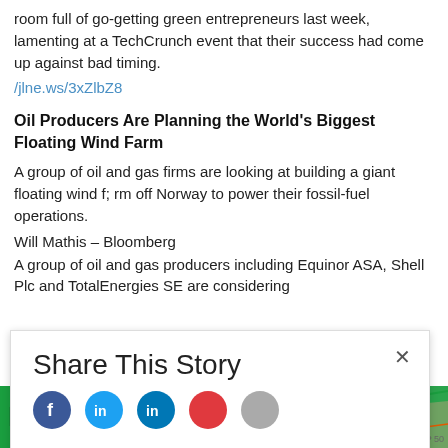room full of go-getting green entrepreneurs last week, lamenting at a TechCrunch event that their success had come up against bad timing.
/jlne.ws/3xZlbZ8
Oil Producers Are Planning the World's Biggest Floating Wind Farm
A group of oil and gas firms are looking at building a giant floating wind f; rm off Norway to power their fossil-fuel operations.
Will Mathis – Bloomberg
A group of oil and gas producers including Equinor ASA, Shell Plc and TotalEnergies SE are considering
Share This Story
[Figure (logo): IPOX logo in black and orange on green banner with stock chart overlay]